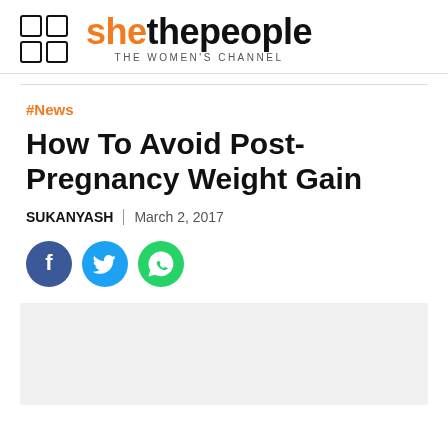shethepeople THE WOMEN'S CHANNEL
#News
How To Avoid Post-Pregnancy Weight Gain
SUKANYASH | March 2, 2017
[Figure (other): Social share icons: Facebook, Twitter, WhatsApp]
[Figure (photo): Image placeholder (light gray background)]